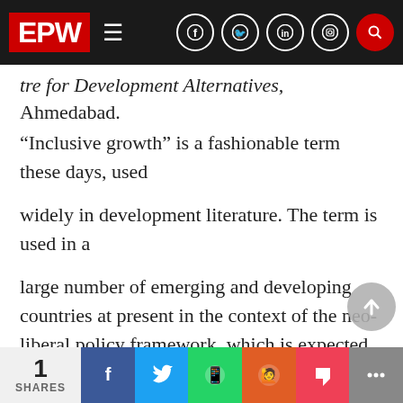EPW — Economic and Political Weekly navigation bar
tre for Development Alternatives, Ahmedabad.
“Inclusive growth” is a fashionable term these days, used
widely in development literature. The term is used in a
large number of emerging and developing countries at present in the context of the neo-liberal policy framework, which is expected to deliver growth – inclusive growth. Empirical evidence from most of these countries, however, indicates that the neo-liberal policies have no
1 SHARES | Facebook | Twitter | WhatsApp | Reddit | Pocket | More